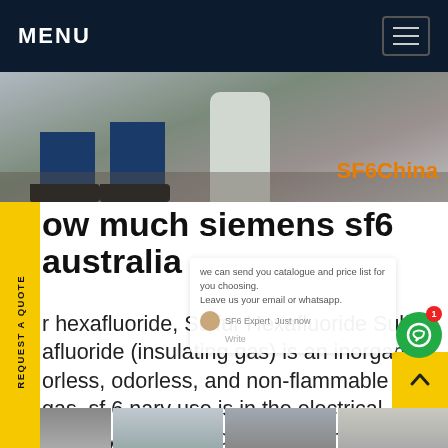MENU
[Figure (photo): Outdoor industrial photo showing person's boots/legs in blue workwear, electrical equipment including a white cylinder/tank, with 'SF6China' orange text overlay in bottom-right.]
how much siemens sf6 australia
sulfur hexafluoride, Sulfur Hexafluoride Sulfur hexafluoride (insulating gas) is an inorganic, colorless, odorless, and non-flammable gas. sf 6 primary use is in the electrical industry as a gaseous dielectric medium for various voltage circuit breakers, switchgear and other electrical equipment, often replacing oil filled circuit breakers (OCBs) that can contain harmful PCBs.Get price